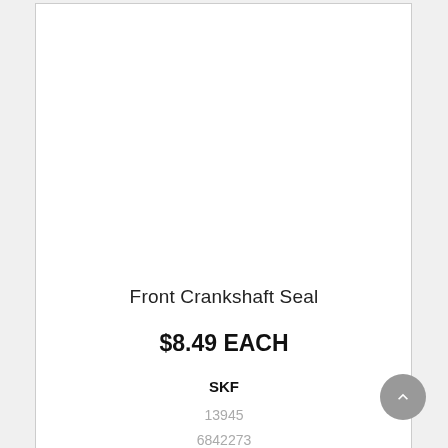Front Crankshaft Seal
$8.49 EACH
SKF
13945
6842273
139578  HQR